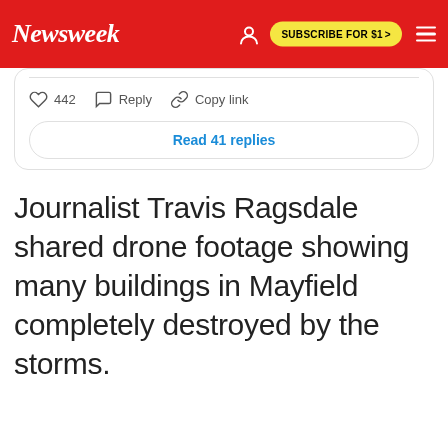Newsweek | SUBSCRIBE FOR $1 >
[Figure (screenshot): Twitter/X tweet card showing like count 442, Reply button, Copy link button, and a 'Read 41 replies' button]
Journalist Travis Ragsdale shared drone footage showing many buildings in Mayfield completely destroyed by the storms.